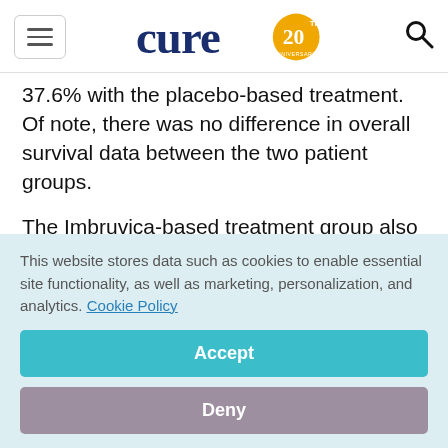CURE 20th Anniversary logo
37.6% with the placebo-based treatment. Of note, there was no difference in overall survival data between the two patient groups.
The Imbruvica-based treatment group also had a higher time to next treatment, which means more time lapsed before their disease stopped responding to treatment and they had to receive additional
This website stores data such as cookies to enable essential site functionality, as well as marketing, personalization, and analytics. Cookie Policy
Accept
Deny